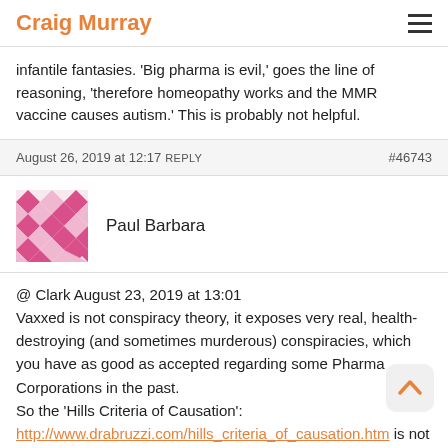Craig Murray
infantile fantasies. 'Big pharma is evil,' goes the line of reasoning, 'therefore homeopathy works and the MMR vaccine causes autism.' This is probably not helpful.
August 26, 2019 at 12:17 REPLY #46743
Paul Barbara
@ Clark August 23, 2019 at 13:01
Vaxxed is not conspiracy theory, it exposes very real, health-destroying (and sometimes murderous) conspiracies, which you have as good as accepted regarding some Pharma Corporations in the past.
So the 'Hills Criteria of Causation':
http://www.drabruzzi.com/hills_criteria_of_causation.htm is not scientific?